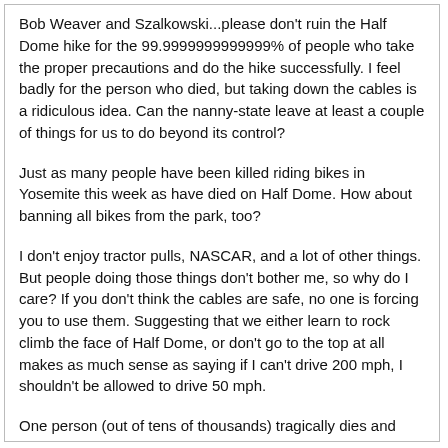Bob Weaver and Szalkowski...please don't ruin the Half Dome hike for the 99.9999999999999% of people who take the proper precautions and do the hike successfully. I feel badly for the person who died, but taking down the cables is a ridiculous idea. Can the nanny-state leave at least a couple of things for us to do beyond its control?
Just as many people have been killed riding bikes in Yosemite this week as have died on Half Dome. How about banning all bikes from the park, too?
I don't enjoy tractor pulls, NASCAR, and a lot of other things. But people doing those things don't bother me, so why do I care? If you don't think the cables are safe, no one is forcing you to use them. Suggesting that we either learn to rock climb the face of Half Dome, or don't go to the top at all makes as much sense as saying if I can't drive 200 mph, I shouldn't be allowed to drive 50 mph.
One person (out of tens of thousands) tragically dies and some want to stop the whole thing. Craziness.
This is not original, but sums up my thoughts on